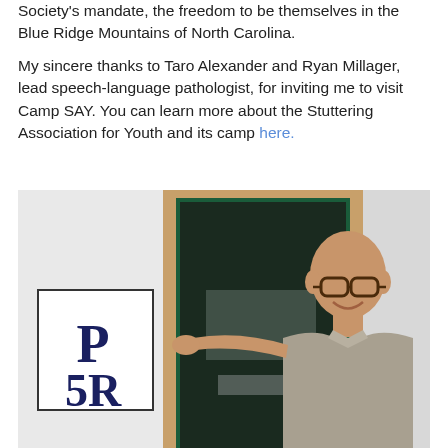Society's mandate, the freedom to be themselves in the Blue Ridge Mountains of North Carolina.
My sincere thanks to Taro Alexander and Ryan Millager, lead speech-language pathologist, for inviting me to visit Camp SAY. You can learn more about the Stuttering Association for Youth and its camp here.
[Figure (photo): A bald man wearing glasses and a grey polo shirt stands next to a dark green door with a wooden frame. He is pointing at the door. To the left is a sign reading 'P 5R'. The setting appears to be a camp or school building with white walls.]